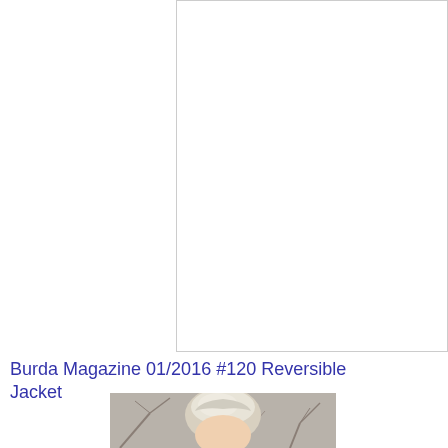[Figure (other): Large white/blank rectangle with thin gray border, representing an empty document or pattern sheet area]
Burda Magazine 01/2016 #120 Reversible Jacket
[Figure (photo): Partial photo showing top of a person's head with blonde/silver hair against a background of bare tree branches]